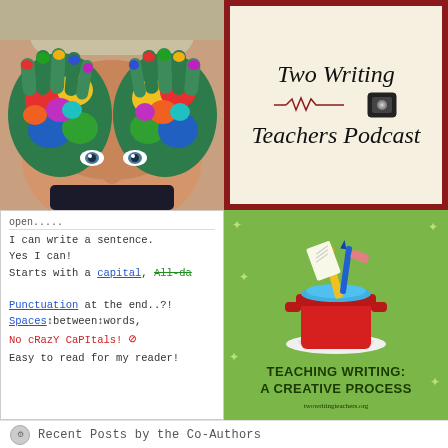[Figure (photo): Child holding up colorful paint-covered hands in front of face, vibrant colors of green, red, yellow, blue]
[Figure (logo): Two Writing Teachers Podcast logo on cream background with dark red border, italic serif text and microphone icon with heartbeat line]
[Figure (photo): Handwritten classroom anchor chart with writing rules: I can write a sentence, Yes I can! Starts with a capital, Punctuation at the end..?!, Spaces between words, No cRazY CaPItals!, Easy to read for my reader!]
[Figure (illustration): Teaching Writing: A Creative Process - green background illustration with red pot full of colored pencils, notebook, pencil, and sparkle decorations]
Recent Posts by the Co-Authors